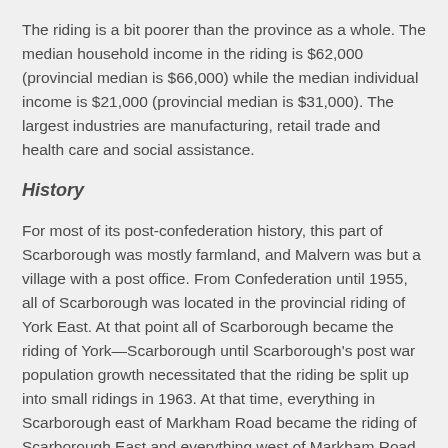The riding is a bit poorer than the province as a whole. The median household income in the riding is $62,000 (provincial median is $66,000) while the median individual income is $21,000 (provincial median is $31,000). The largest industries are manufacturing, retail trade and health care and social assistance.
History
For most of its post-confederation history, this part of Scarborough was mostly farmland, and Malvern was but a village with a post office. From Confederation until 1955, all of Scarborough was located in the provincial riding of York East. At that point all of Scarborough became the riding of York—Scarborough until Scarborough's post war population growth necessitated that the riding be split up into small ridings in 1963. At that time, everything in Scarborough east of Markham Road became the riding of Scarborough East and everything west of Markham Road and north of